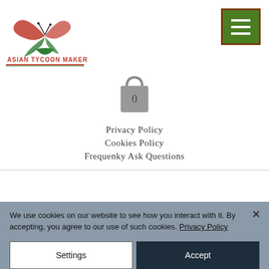[Figure (logo): Asian Tycoon Maker logo with butterfly and leaf design in red and green]
[Figure (other): Green hamburger menu button with three white horizontal lines]
[Figure (other): Grey shopping bag icon with number 0]
Privacy Policy
Cookies Policy
Frequenky Ask Questions
We use cookies on our website to see how you interact with it. By accepting, you agree to our use of such cookies. Privacy Policy
Settings
Accept